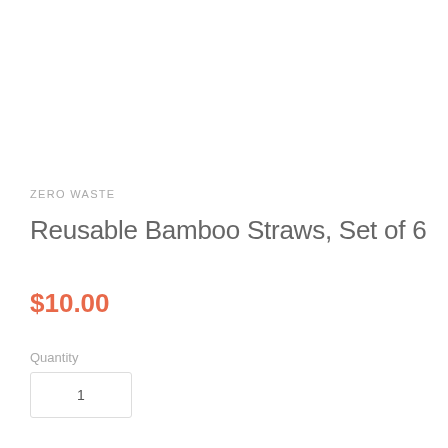ZERO WASTE
Reusable Bamboo Straws, Set of 6
$10.00
Quantity
1